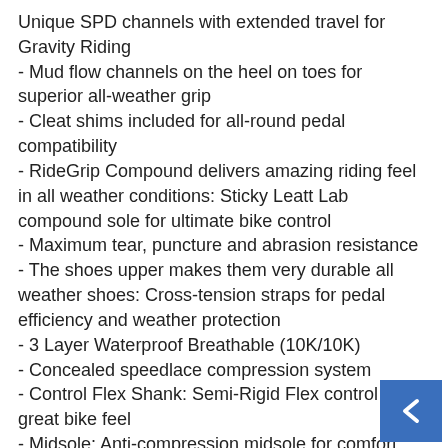Unique SPD channels with extended travel for Gravity Riding
- Mud flow channels on the heel on toes for superior all-weather grip
- Cleat shims included for all-round pedal compatibility
- RideGrip Compound delivers amazing riding feel in all weather conditions: Sticky Leatt Lab compound sole for ultimate bike control
- Maximum tear, puncture and abrasion resistance
- The shoes upper makes them very durable all weather shoes: Cross-tension straps for pedal efficiency and weather protection
- 3 Layer Waterproof Breathable (10K/10K)
- Concealed speedlace compression system
- Control Flex Shank: Semi-Rigid Flex control for great bike feel
- Midsole: Anti-compression midsole for comfort
- Protection: Molded stabilizing heel and rigid reinforced toe area
- Strategically placed PU reinforcements